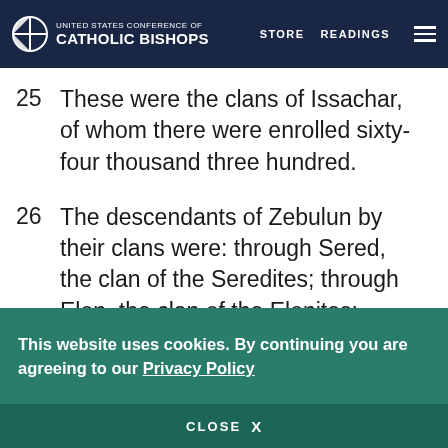United States Conference of Catholic Bishops — STORE  READINGS
25  These were the clans of Issachar, of whom there were enrolled sixty-four thousand three hundred.
26  The descendants of Zebulun by their clans were: through Sered, the clan of the Seredites; through Elon, the clan of the Elonites; through Jahleel, the clan of the Jahleelites.
27  [partial, cut off]
This website uses cookies. By continuing you are agreeing to our Privacy Policy
CLOSE  X